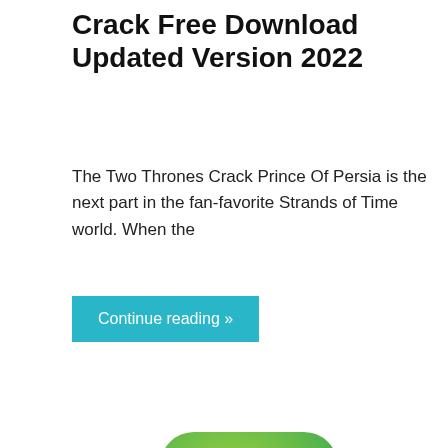Crack Free Download Updated Version 2022
The Two Thrones Crack Prince Of Persia is the next part in the fan-favorite Strands of Time world. When the
Continue reading »
[Figure (logo): BlueStacks-style stacked colorful rounded squares logo with text 'Muzamilpc.com' overlaid in italic script]